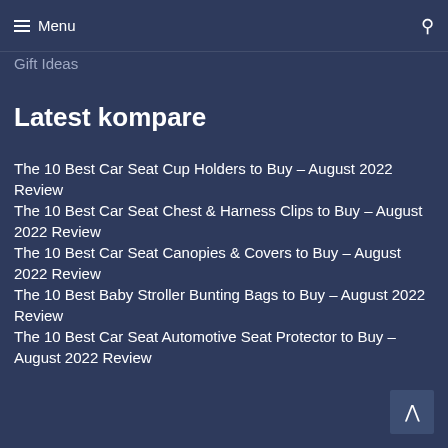Menu
Gift Ideas
Latest kompare
The 10 Best Car Seat Cup Holders to Buy – August 2022 Review
The 10 Best Car Seat Chest & Harness Clips to Buy – August 2022 Review
The 10 Best Car Seat Canopies & Covers to Buy – August 2022 Review
The 10 Best Baby Stroller Bunting Bags to Buy – August 2022 Review
The 10 Best Car Seat Automotive Seat Protector to Buy – August 2022 Review